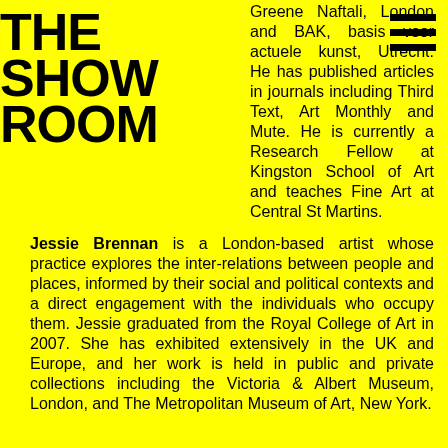THE SHOW ROOM
Greene Naftali, London and BAK, basis voor actuele kunst, Utrecht. He has published articles in journals including Third Text, Art Monthly and Mute. He is currently a Research Fellow at Kingston School of Art and teaches Fine Art at Central St Martins.
Jessie Brennan is a London-based artist whose practice explores the inter-relations between people and places, informed by their social and political contexts and a direct engagement with the individuals who occupy them. Jessie graduated from the Royal College of Art in 2007. She has exhibited extensively in the UK and Europe, and her work is held in public and private collections including the Victoria & Albert Museum, London, and The Metropolitan Museum of Art, New York.